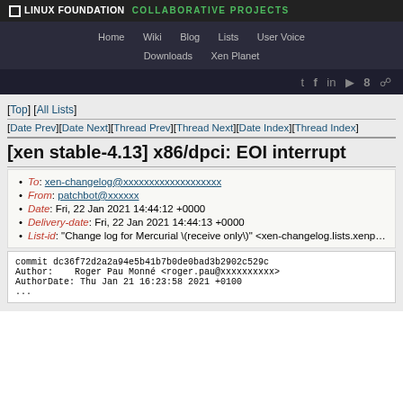LINUX FOUNDATION COLLABORATIVE PROJECTS
Home  Wiki  Blog  Lists  User Voice  Downloads  Xen Planet
[Top] [All Lists]
[Date Prev][Date Next][Thread Prev][Thread Next][Date Index][Thread Index]
[xen stable-4.13] x86/dpci: EOI interrupt...
To: xen-changelog@xxxxxxxxxxxxxxxxxxx
From: patchbot@xxxxxx
Date: Fri, 22 Jan 2021 14:44:12 +0000
Delivery-date: Fri, 22 Jan 2021 14:44:13 +0000
List-id: "Change log for Mercurial \(receive only\)" <xen-changelog.lists.xenp...
commit dc36f72d2a2a94e5b41b7b0de0bad3b2902c529c
Author:    Roger Pau Monné <roger.pau@xxxxxxxxxx>
AuthorDate: Thu Jan 21 16:23:58 2021 +0100